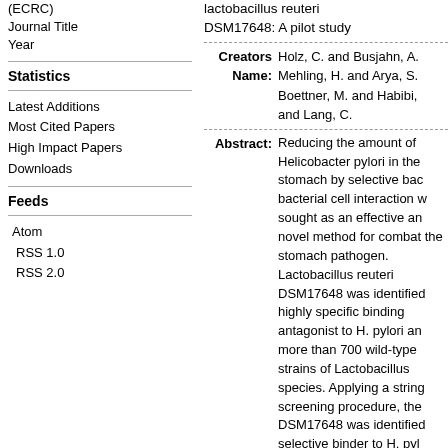(ECRC)
Journal Title
Year
Statistics
Latest Additions
Most Cited Papers
High Impact Papers
Downloads
Feeds
Atom
RSS 1.0
RSS 2.0
lactobacillus reuteri DSM17648: A pilot study
Creators Name: Holz, C. and Busjahn, A. Mehling, H. and Arya, S. Boettner, M. and Habibi, and Lang, C.
Abstract: Reducing the amount of Helicobacter pylori in the stomach by selective bacterial cell interaction was sought as an effective and novel method for combating the stomach pathogen. Lactobacillus reuteri DSM17648 was identified as highly specific binding antagonist to H. pylori among more than 700 wild-type strains of Lactobacillus species. Applying a stringent screening procedure, the DSM17648 was identified as selective binder to H. pylori cells under in vivo gastric conditions. The strain DSM17648 co-aggregates the pathogen in vivo and in vitro. The specific co-aggregation occurs between Lact. re